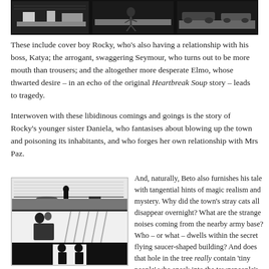[Figure (illustration): Black and white comic strip panels showing figures at what appear to be desks or counters, drawn in a stark graphic style.]
These include cover boy Rocky, who's also having a relationship with his boss, Katya; the arrogant, swaggering Seymour, who turns out to be more mouth than trousers; and the altogether more desperate Elmo, whose thwarted desire – in an echo of the original Heartbreak Soup story – leads to tragedy.
Interwoven with these libidinous comings and goings is the story of Rocky's younger sister Daniela, who fantasises about blowing up the town and poisoning its inhabitants, and who forges her own relationship with Mrs Paz.
[Figure (illustration): Black and white comic strip panels: top panel shows silhouetted figure on a horizon; middle panel shows two figures embracing near water; bottom panel shows two silhouetted figures facing each other in a doorway.]
And, naturally, Beto also furnishes his tale with tangential hints of magic realism and mystery. Why did the town's stray cats all disappear overnight? What are the strange noises coming from the nearby army base? Who – or what – dwells within the secret flying saucer-shaped building? And does that hole in the tree really contain 'tiny people' who sneak into the townspeople's dreams to steal their secrets?